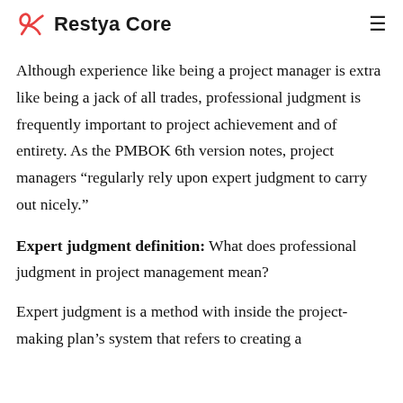Restya Core
Although experience like being a project manager is extra like being a jack of all trades, professional judgment is frequently important to project achievement and of entirety. As the PMBOK 6th version notes, project managers “regularly rely upon expert judgment to carry out nicely.”
Expert judgment definition: What does professional judgment in project management mean?
Expert judgment is a method with inside the project-making plan’s system that refers to creating a